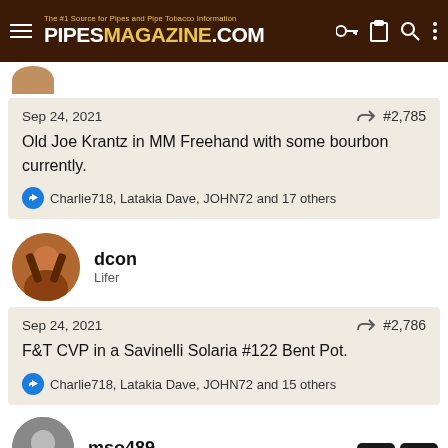PipesMagazine.com - The #1 Source for Pipes and Pipe Tobacco Information
Sep 24, 2021   #2,785
Old Joe Krantz in MM Freehand with some bourbon currently.
Charlie718, Latakia Dave, JOHN72 and 17 others
dcon
Lifer
Sep 24, 2021   #2,786
F&T CVP in a Savinelli Solaria #122 Bent Pot.
Charlie718, Latakia Dave, JOHN72 and 15 others
mso489